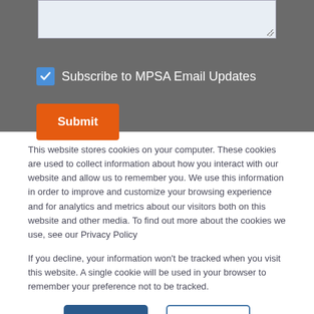[Figure (screenshot): Text area input box with resize handle in bottom right corner, on dark gray background]
Subscribe to MPSA Email Updates
[Figure (screenshot): Orange Submit button]
This website stores cookies on your computer. These cookies are used to collect information about how you interact with our website and allow us to remember you. We use this information in order to improve and customize your browsing experience and for analytics and metrics about our visitors both on this website and other media. To find out more about the cookies we use, see our Privacy Policy
If you decline, your information won't be tracked when you visit this website. A single cookie will be used in your browser to remember your preference not to be tracked.
[Figure (screenshot): Accept button (dark blue) and Decline button (white with blue border)]